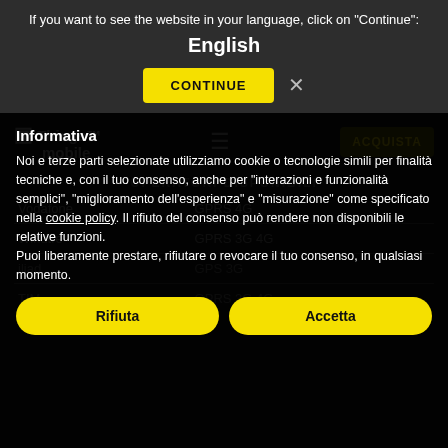If you want to see the website in your language, click on "Continue": English
[Figure (screenshot): Website screenshot showing Things Mobile website with cookie consent overlay in Italian. Language selection bar at top with CONTINUE button, cookie notice with Rifiuta and Accetta buttons, and Scopri di più e personalizza button at bottom.]
Informativa
Noi e terze parti selezionate utilizziamo cookie o tecnologie simili per finalità tecniche e, con il tuo consenso, anche per "interazioni e funzionalità semplici", "miglioramento dell'esperienza" e "misurazione" come specificato nella cookie policy. Il rifiuto del consenso può rendere non disponibili le relative funzioni.
Puoi liberamente prestare, rifiutare o revocare il tuo consenso, in qualsiasi momento.
Rifiuta
Accetta
Scopri di più e personalizza